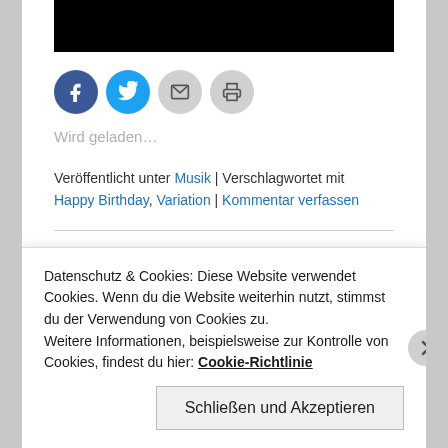[Figure (photo): Black image bar at top of page]
[Figure (infographic): Social share buttons: Facebook (blue circle), Twitter (blue circle), Email (grey circle), Print (grey circle)]
Wird geladen...
Veröffentlicht unter Musik | Verschlagwortet mit Happy Birthday, Variation | Kommentar verfassen
Daft Punk Mega Mix
Datenschutz & Cookies: Diese Website verwendet Cookies. Wenn du die Website weiterhin nutzt, stimmst du der Verwendung von Cookies zu.
Weitere Informationen, beispielsweise zur Kontrolle von Cookies, findest du hier: Cookie-Richtlinie
Schließen und Akzeptieren